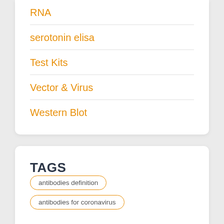RNA
serotonin elisa
Test Kits
Vector & Virus
Western Blot
TAGS
antibodies definition
antibodies for coronavirus